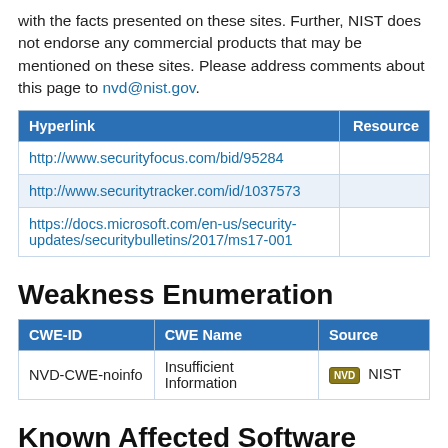with the facts presented on these sites. Further, NIST does not endorse any commercial products that may be mentioned on these sites. Please address comments about this page to nvd@nist.gov.
| Hyperlink | Resource |
| --- | --- |
| http://www.securityfocus.com/bid/95284 |  |
| http://www.securitytracker.com/id/1037573 |  |
| https://docs.microsoft.com/en-us/security-updates/securitybulletins/2017/ms17-001 |  |
Weakness Enumeration
| CWE-ID | CWE Name | Source |
| --- | --- | --- |
| NVD-CWE-noinfo | Insufficient Information | NIST |
Known Affected Software